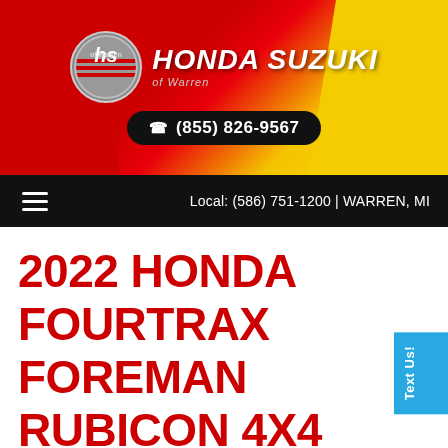[Figure (logo): Honda Suzuki of Warren dealership logo with HS circular emblem and dealership name on red/yellow gradient background with phone number (855) 826-9567]
Local: (586) 751-1200 | WARREN, MI
2022 HONDA FOURTRAX FOREMAN RUBICON 4X4 AUTOMATIC DCT EPS DELUXE